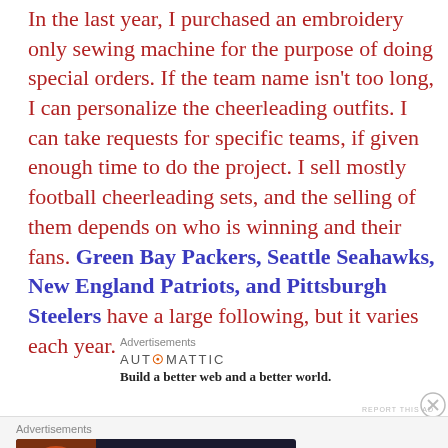In the last year, I purchased an embroidery only sewing machine for the purpose of doing special orders. If the team name isn't too long, I can personalize the cheerleading outfits. I can take requests for specific teams, if given enough time to do the project. I sell mostly football cheerleading sets, and the selling of them depends on who is winning and their fans. Green Bay Packers, Seattle Seahawks, New England Patriots, and Pittsburgh Steelers have a large following, but it varies each year.
Advertisements
[Figure (other): Automattic advertisement: logo and tagline 'Build a better web and a better world.']
Advertisements
[Figure (other): Seamless food delivery advertisement with pizza image, seamless logo, and ORDER NOW button]